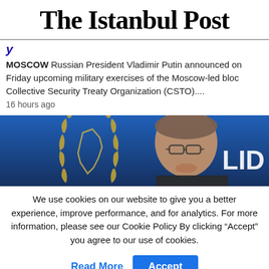The Istanbul Post
y
MOSCOW  Russian President Vladimir Putin announced on Friday upcoming military exercises of the Moscow-led bloc Collective Security Treaty Organization (CSTO)....
16 hours ago
[Figure (photo): A man speaking at a podium with a Bosnia and Herzegovina emblem (outline map with laurel wreath) visible on the left and letters 'LID' visible on the right, blue background.]
We use cookies on our website to give you a better experience, improve performance, and for analytics. For more information, please see our Cookie Policy By clicking “Accept” you agree to our use of cookies.
Read More   Accept